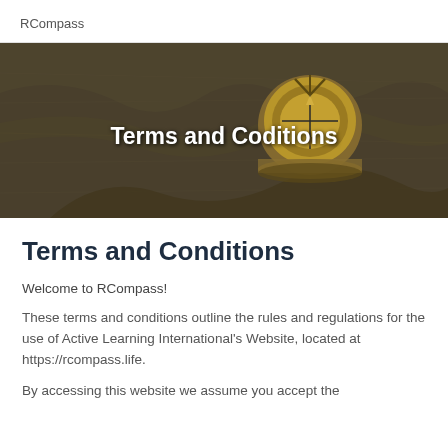RCompass
[Figure (photo): Hero banner image of a brass compass resting on an old map, with dark overlay. Text overlay reads 'Terms and Coditions'.]
Terms and Conditions
Welcome to RCompass!
These terms and conditions outline the rules and regulations for the use of Active Learning International's Website, located at https://rcompass.life.
By accessing this website we assume you accept the